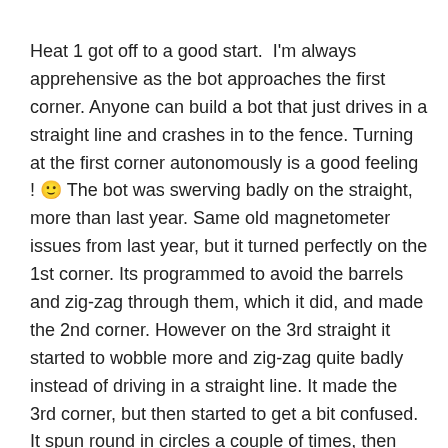Heat 1 got off to a good start.  I'm always apprehensive as the bot approaches the first corner. Anyone can build a bot that just drives in a straight line and crashes in to the fence. Turning at the first corner autonomously is a good feeling ! 🙂 The bot was swerving badly on the straight, more than last year. Same old magnetometer issues from last year, but it turned perfectly on the 1st corner. Its programmed to avoid the barrels and zig-zag through them, which it did, and made the 2nd corner. However on the 3rd straight it started to wobble more and zig-zag quite badly instead of driving in a straight line. It made the 3rd corner, but then started to get a bit confused. It spun round in circles a couple of times, then crashed in to a bollard. Disappointing, but not bad for a first run.